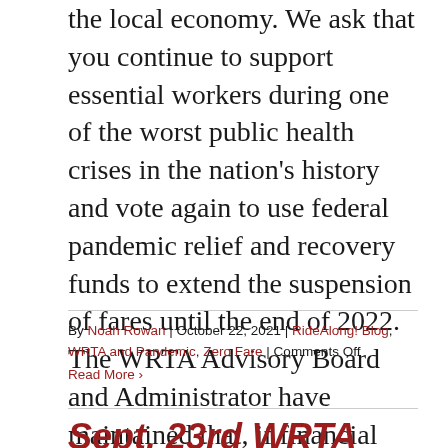the local economy. We ask that you continue to support essential workers during one of the worst public health crises in the nation's history and vote again to use federal pandemic relief and recovery funds to extend the suspension of fares until the end of 2022. The WRTA Advisory Board and Administrator have maintained that, if financial resources become available, they will [...]
By Noah Rowan | October 22, 2021 | RideAlong! Blog, WRTA and Pandemic, Zero Fare | Comments Off
Read More ›
Sept. 23rd WRTA Board